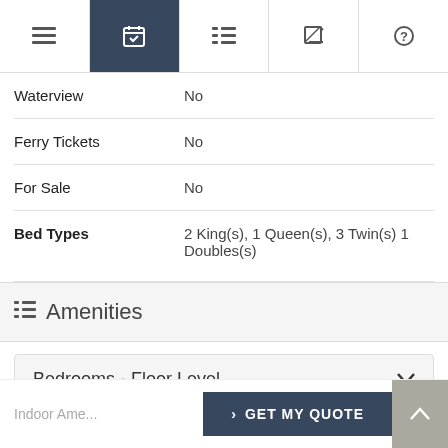[Figure (screenshot): Top navigation bar with 5 icon tabs; second tab (calendar/booking) is active with dark navy background]
Waterview	No
Ferry Tickets	No
For Sale	No
Bed Types	2 King(s), 1 Queen(s), 3 Twin(s) 1 Doubles(s)
Amenities
Bedrooms - Floor Level
Indoor Ame...
GET MY QUOTE